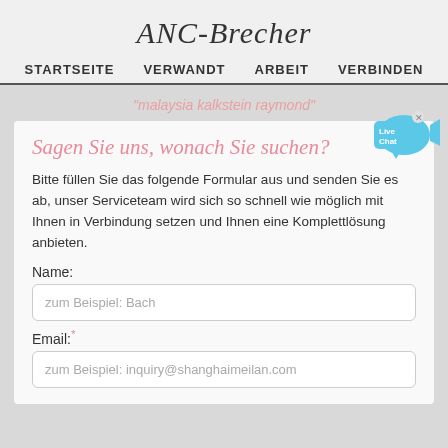ANC-Brecher
STARTSEITE   VERWANDT   ARBEIT   VERBINDEN
"malaysia kalkstein raymond"
Sagen Sie uns, wonach Sie suchen?
Bitte füllen Sie das folgende Formular aus und senden Sie es ab, unser Serviceteam wird sich so schnell wie möglich mit Ihnen in Verbindung setzen und Ihnen eine Komplettlösung anbieten.
Name:
zum Beispiel: Bach
Email:*
zum Beispiel: inquiry@shanghaimeilan.com